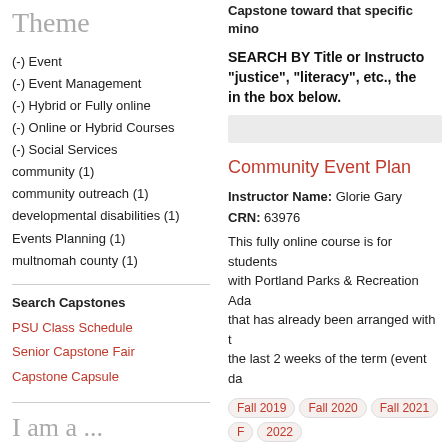Theme
(-) Event
(-) Event Management
(-) Hybrid or Fully online
(-) Online or Hybrid Courses
(-) Social Services
community (1)
community outreach (1)
developmental disabilities (1)
Events Planning (1)
multnomah county (1)
Search Capstones
PSU Class Schedule
Senior Capstone Fair
Capstone Capsule
I am a ...
Student
Capstone toward that specific mino
SEARCH BY Title or Instructor: "justice", "literacy", etc., the in the box below.
Community Event Plan
Instructor Name: Glorie Gary
CRN: 63976
This fully online course is for students with Portland Parks & Recreation Ada that has already been arranged with t the last 2 weeks of the term (event da
Fall 2019  Fall 2020  Fall 2021  F 2022
Events Planning  Event  Social S outreach  Event Management  Hy